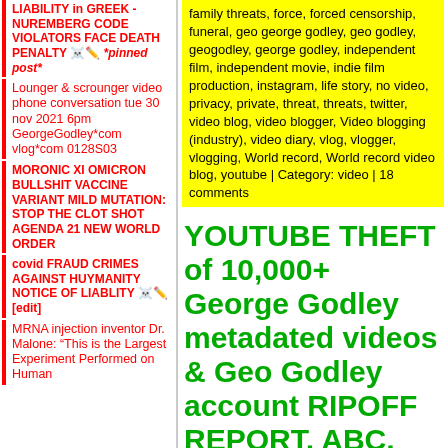LIABILITY in GREEK -NUREMBERG CODE VIOLATORS FACE DEATH PENALTY ☠️✏️ *pinned post*
Lounger & scrounger video phone conversation tue 30 nov 2021 6pm GeorgeGodley*com vlog*com 0128S03
MORONIC XI OMICRON BULLSHIT VACCINE VARIANT MILD MUTATION: STOP THE CLOT SHOT AGENDA 21 NEW WORLD ORDER
covid FRAUD CRIMES AGAINST HUYMANITY NOTICE OF LIABLITY ☠️✏️ [edit]
MRNA injection inventor Dr. Malone: "This is the Largest Experiment Performed on Human
family threats, force, forced censorship, funeral, geo george godley, geo godley, geogodley, george godley, independent film, independent movie, indie film production, instagram, life story, no video, privacy, private, threat, threats, twitter, video blog, video blogger, Video blogging (industry), video diary, vlog, vlogger, vlogging, World record, World record video blog, youtube | Category: video | 18 comments
YOUTUBE THEFT of 10,000+ George Godley metadated videos & Geo Godley account RIPOFF REPORT, ABC, NBC, CBS 60